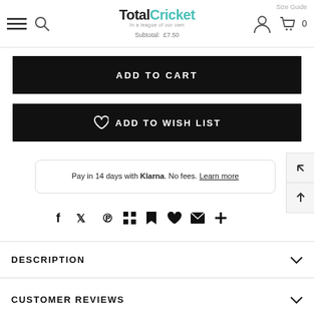TotalCricket In a league of our own  Subtotal: £7.50  Size Guide
ADD TO CART
♡ ADD TO WISH LIST
Pay in 14 days with Klarna. No fees. Learn more
[Figure (infographic): Social sharing icons row: Facebook, Twitter, Pinterest, Grid/Apps, Goodreads, Heart, Mail, Plus]
DESCRIPTION
CUSTOMER REVIEWS